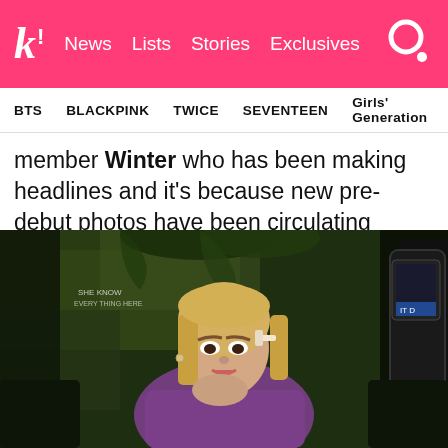k! News Lists Stories Exclusives
BTS BLACKPINK TWICE SEVENTEEN Girls' Generation
member Winter who has been making headlines and it's because new pre-debut photos have been circulating online.
[Figure (photo): Pre-debut photo of Winter (aespa member) with blonde hair and hair clip, wearing a purple top, seated against a dark green wall background, moody lighting]